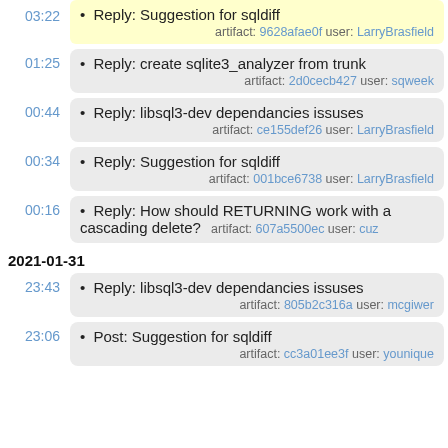03:22 • Reply: Suggestion for sqldiff artifact: 9628afae0f user: LarryBrasfield
01:25 • Reply: create sqlite3_analyzer from trunk artifact: 2d0cecb427 user: sqweek
00:44 • Reply: libsql3-dev dependancies issuses artifact: ce155def26 user: LarryBrasfield
00:34 • Reply: Suggestion for sqldiff artifact: 001bce6738 user: LarryBrasfield
00:16 • Reply: How should RETURNING work with a cascading delete? artifact: 607a5500ec user: cuz
2021-01-31
23:43 • Reply: libsql3-dev dependancies issuses artifact: 805b2c316a user: mcgiwer
23:06 • Post: Suggestion for sqldiff artifact: cc3a01ee3f user: younique